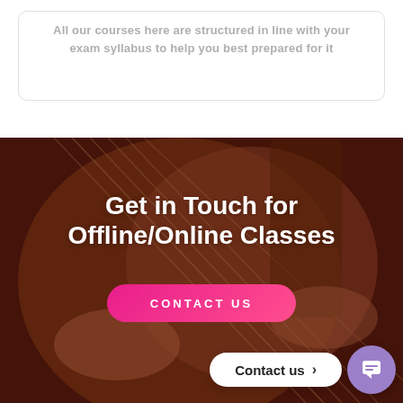All our courses here are structured in line with your exam syllabus to help you best prepared for it
[Figure (photo): Person playing acoustic guitar, close-up view showing hands on strings, dark reddish-brown background with overlay]
Get in Touch for Offline/Online Classes
CONTACT US
Contact us